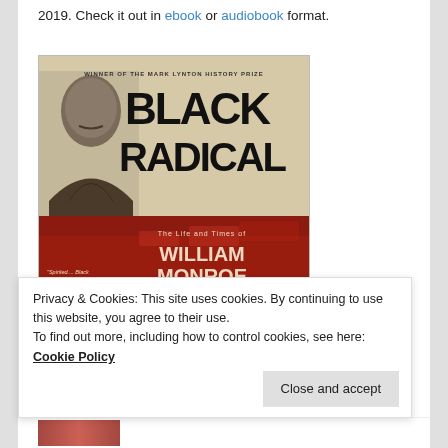2019. Check it out in ebook or audiobook format.
[Figure (illustration): Book cover for 'Black Radical: The Life and Times of William Monroe Trotter'. Upper half shows beige/tan background with large bold black text 'BLACK RADICAL' and a portrait photo of William Monroe Trotter. Lower half is red with building imagery and text 'The Life and Times of William Monroe Trotter'. Includes a quote: 'Spirited.... Black Radical opens up a rich seam of inquiry.' —Jennifer Schuessler, New York Times. Winner of the Mark Lynton History Prize.]
Privacy & Cookies: This site uses cookies. By continuing to use this website, you agree to their use.
To find out more, including how to control cookies, see here: Cookie Policy